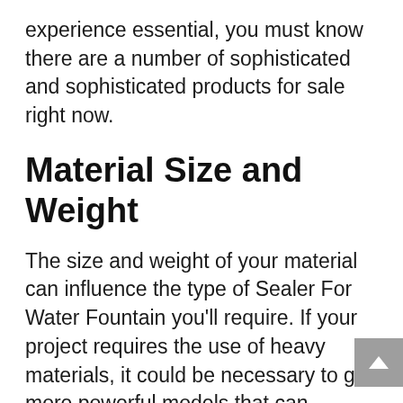experience essential, you must know there are a number of sophisticated and sophisticated products for sale right now.
Material Size and Weight
The size and weight of your material can influence the type of Sealer For Water Fountain you'll require. If your project requires the use of heavy materials, it could be necessary to get more powerful models that can accommodate bigger loads.